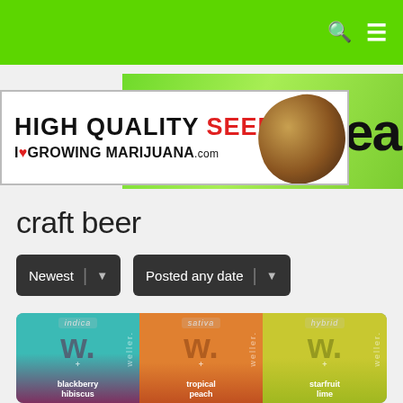Navigation bar with search and menu icons
[Figure (screenshot): Green banner with text 'Trusted lea...' (truncated)]
[Figure (screenshot): Advertisement banner: HIGH QUALITY SEEDS in black and red bold text, I♥GROWING MARIJUANA.com, with cannabis seed image on right]
craft beer
Newest | v   Posted any date | v
[Figure (photo): Three Weller brand cans: indica blackberry hibiscus (teal/purple), sativa tropical peach (orange), hybrid starfruit lime (yellow-green)]